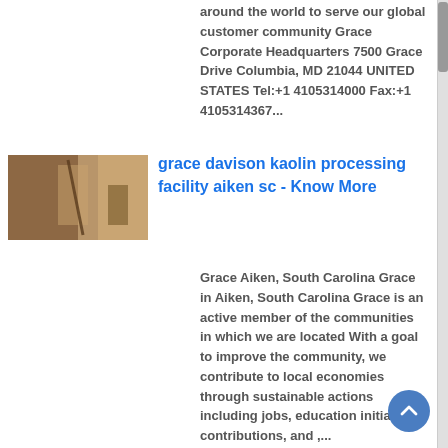around the world to serve our global customer community Grace Corporate Headquarters 7500 Grace Drive Columbia, MD 21044 UNITED STATES Tel:+1 4105314000 Fax:+1 4105314367...
[Figure (photo): Small thumbnail image showing an industrial or facility interior with brownish/tan tones]
grace davison kaolin processing facility aiken sc - Know More
Grace Aiken, South Carolina Grace in Aiken, South Carolina Grace is an active member of the communities in which we are located With a goal to improve the community, we contribute to local economies through sustainable actions including jobs, education initiatives, contributions, and ,...